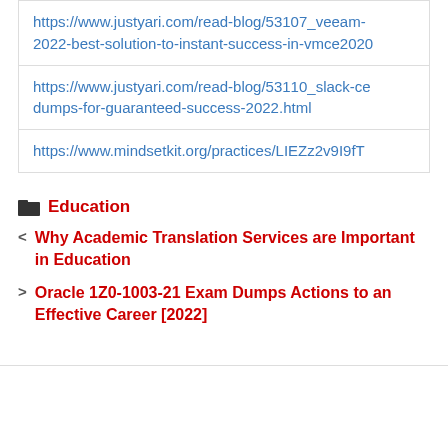https://www.justyari.com/read-blog/53107_veeam-2022-best-solution-to-instant-success-in-vmce2020
https://www.justyari.com/read-blog/53110_slack-ce dumps-for-guaranteed-success-2022.html
https://www.mindsetkit.org/practices/LIEZz2v9I9fT
Education
< Why Academic Translation Services are Important in Education
> Oracle 1Z0-1003-21 Exam Dumps Actions to an Effective Career [2022]